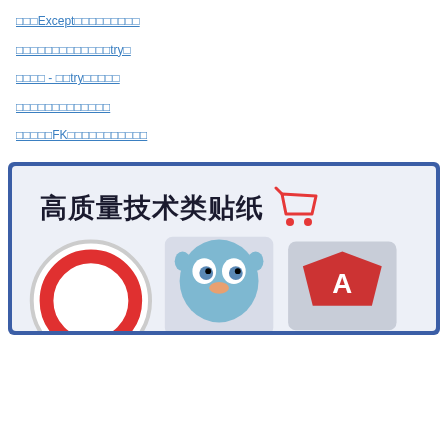□□□Except□□□□□□□□□
□□□□□□□□□□□□□try□
□□□□ - □□try□□□□□
□□□□□□□□□□□□□
□□□□□FK□□□□□□□□□□□
[Figure (illustration): Banner for high quality technical stickers shop showing Chinese text '高质量技术类贴纸' with a red shopping cart icon, on a light blue/grey background with programming mascot stickers (Go gopher, Python snake sticker, and another round sticker) at the bottom, framed by a dark blue border.]